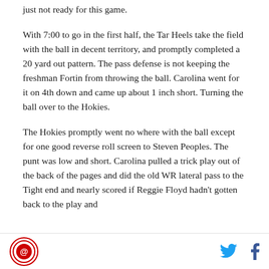just not ready for this game.
With 7:00 to go in the first half, the Tar Heels take the field with the ball in decent territory, and promptly completed a 20 yard out pattern. The pass defense is not keeping the freshman Fortin from throwing the ball. Carolina went for it on 4th down and came up about 1 inch short. Turning the ball over to the Hokies.
The Hokies promptly went no where with the ball except for one good reverse roll screen to Steven Peoples. The punt was low and short. Carolina pulled a trick play out of the back of the pages and did the old WR lateral pass to the Tight end and nearly scored if Reggie Floyd hadn't gotten back to the play and
[logo] [twitter] [facebook]